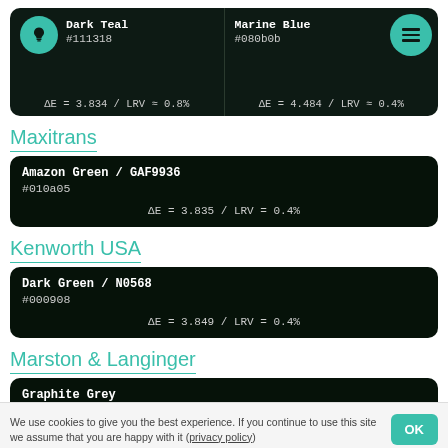[Figure (screenshot): Two color match cards side by side: Dark Teal #111318 with ΔE=3.834/LRV≈0.8% and Marine Blue #080b0b with ΔE=4.484/LRV≈0.4%, on dark background]
Maxitrans
[Figure (screenshot): Color match card: Amazon Green / GAF9936 #010a05 with ΔE=3.835/LRV=0.4%]
Kenworth USA
[Figure (screenshot): Color match card: Dark Green / N0568 #000908 with ΔE=3.849/LRV=0.4%]
Marston & Langinger
[Figure (screenshot): Color match card: Graphite Grey #0b1b1a with ΔE=3.901/LRV≈0.9%]
We use cookies to give you the best experience. If you continue to use this site we assume that you are happy with it (privacy policy)